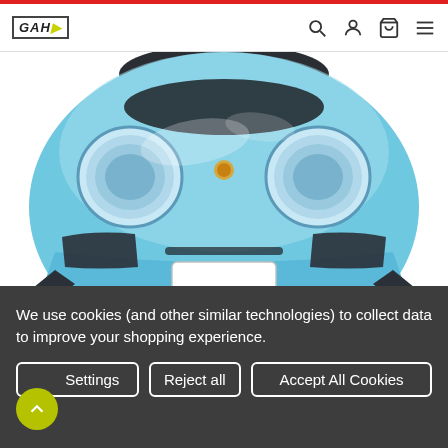GAH logo and navigation icons (search, account, cart, menu)
[Figure (photo): Front view of a light blue Porsche 911 with a custom front bumper/lip spoiler, on white background]
We use cookies (and other similar technologies) to collect data to improve your shopping experience.
Settings | Reject all | Accept All Cookies